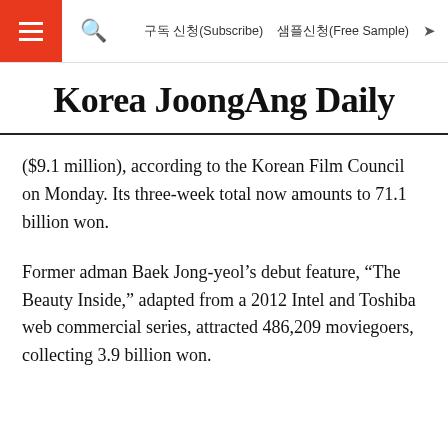구독 신청(Subscribe)   샘플신청(Free Sample)
Korea JoongAng Daily
($9.1 million), according to the Korean Film Council on Monday. Its three-week total now amounts to 71.1 billion won.
Former adman Baek Jong-yeol’s debut feature, “The Beauty Inside,” adapted from a 2012 Intel and Toshiba web commercial series, attracted 486,209 moviegoers, collecting 3.9 billion won.